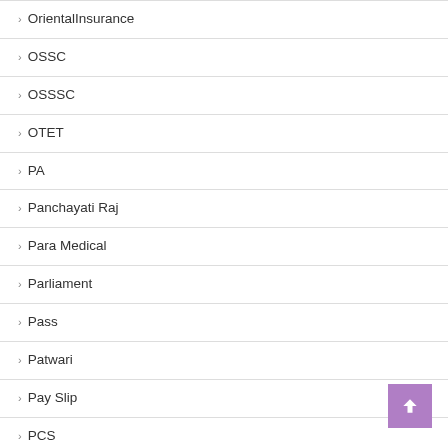OrientalInsurance
OSSC
OSSSC
OTET
PA
Panchayati Raj
Para Medical
Parliament
Pass
Patwari
Pay Slip
PCS
Pension
PET
PG
PGI